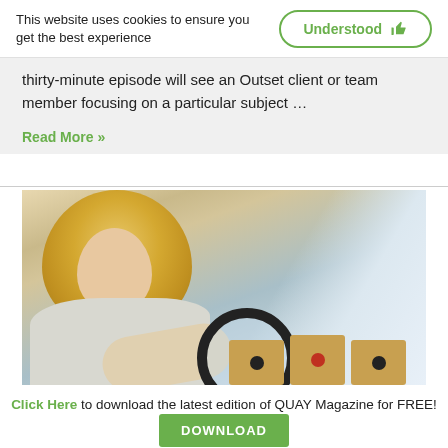This website uses cookies to ensure you get the best experience
Understood 👍
thirty-minute episode will see an Outset client or team member focusing on a particular subject …
Read More »
[Figure (photo): Woman with blonde hair in business attire holding a magnifying glass over wooden blocks on a desk, light office background]
Click Here to download the latest edition of QUAY Magazine for FREE!
DOWNLOAD